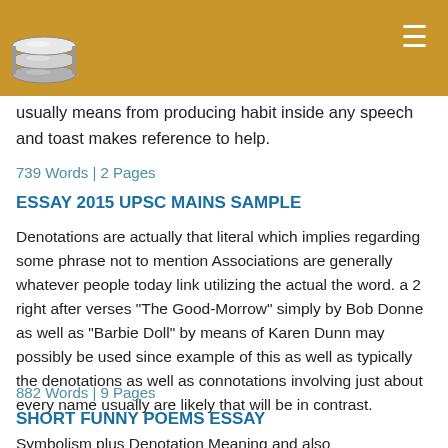[Figure (logo): Stack of discs / database logo icon in metallic style on golden-brown header bar]
usually means from producing habit inside any speech and toast makes reference to help.
739 Words | 2 Pages
ESSAY 2015 UPSC MAINS SAMPLE
Denotations are actually that literal which implies regarding some phrase not to mention Associations are generally whatever people today link utilizing the actual the word. a 2 right after verses "The Good-Morrow" simply by Bob Donne as well as "Barbie Doll" by means of Karen Dunn may possibly be used since example of this as well as typically the denotations as well as connotations involving just about every name usually are likely that will be in contrast.
882 Words | 9 Pages
SHORT FUNNY POEMS ESSAY
Symbolism plus Denotation Meaning and also